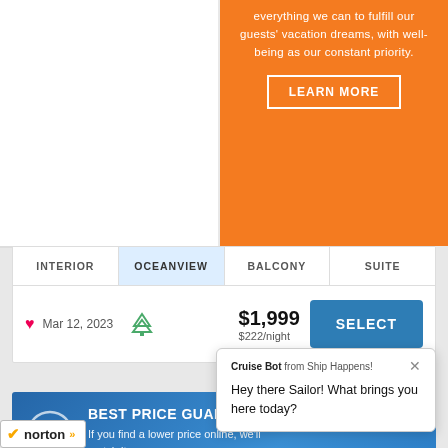everything we can to fulfill our guests' vacation dreams, with well-being as our constant priority.
LEARN MORE
INTERIOR | OCEANVIEW | BALCONY | SUITE
Mar 12, 2023  $1,999  $222/night
SELECT
BEST PRICE GUARANTEE! If you find a lower price online, we'll match it
Cruise Bot from Ship Happens! Hey there Sailor! What brings you here today?
[Figure (logo): Norton security badge with checkmark]